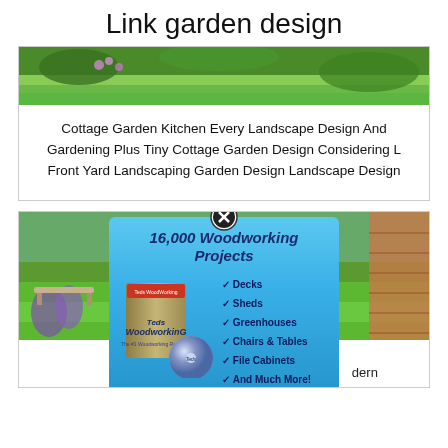Link garden design
[Figure (photo): Garden photo with green grass and flowers]
Cottage Garden Kitchen Every Landscape Design And Gardening Plus Tiny Cottage Garden Design Considering L Front Yard Landscaping Garden Design Landscape Design
[Figure (photo): Garden background photo with bench and purple flowers]
[Figure (infographic): Advertisement popup: 16,000 Woodworking Projects featuring checklist of Decks, Sheds, Greenhouses, Chairs & Tables, File Cabinets, And Much More! with #1 Recommended badge and Download Your Plans Now button. Shows Ted's WoodworkinG box and DVD.]
Landscape Design ... modern